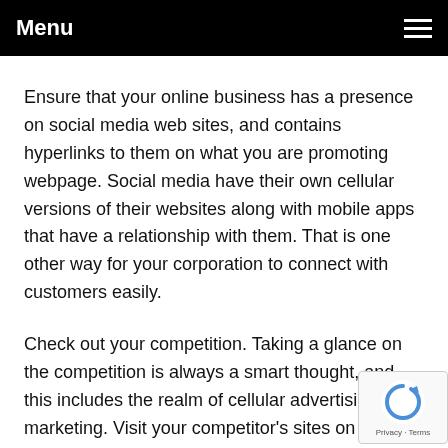Menu
Ensure that your online business has a presence on social media web sites, and contains hyperlinks to them on what you are promoting webpage. Social media have their own cellular versions of their websites along with mobile apps that have a relationship with them. That is one other way for your corporation to connect with customers easily.
Check out your competition. Taking a glance on the competition is always a smart thought, and this includes the realm of cellular advertising and marketing. Visit your competitor's sites on your cell device and check out an they offer. You can see what they are doing nicely, as well as